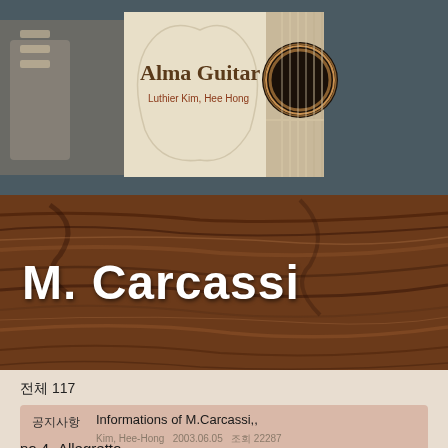[Figure (logo): Alma Guitar logo with luthier name Kim, Hee Hong and guitar soundhole image on beige background]
M. Carcassi
전체 117
| 공지사항 | Informations of M.Carcassi,, |
| --- | --- |
|  | Kim, Hee-Hong  2003.06.05  조회 22287 |
no.4~Allegretto